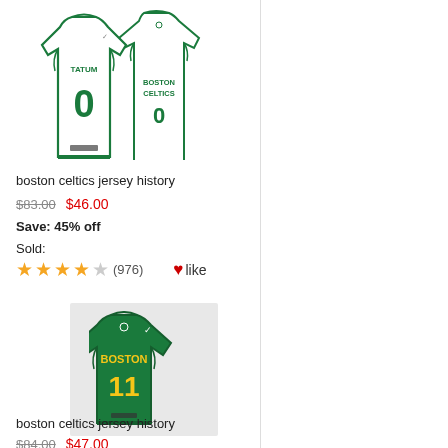[Figure (photo): Boston Celtics #0 Tatum white basketball jersey (front and back views)]
boston celtics jersey history
$83.00  $46.00
Save: 45% off
Sold:
★★★★☆ (976)  ♥like
[Figure (photo): Boston Celtics #11 green basketball jersey with yellow BOSTON lettering]
boston celtics jersey history
$84.00  $47.00